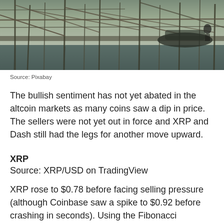[Figure (photo): Photograph of a harbor or dock area with scaffolding, bamboo poles, and boats reflected in the water]
Source: Pixabay
The bullish sentiment has not yet abated in the altcoin markets as many coins saw a dip in price. The sellers were not yet out in force and XRP and Dash still had the legs for another move upward.
XRP
Source: XRP/USD on TradingView
XRP rose to $0.78 before facing selling pressure (although Coinbase saw a spike to $0.92 before crashing in seconds). Using the Fibonacci Retracement tool, some levels where XRP could retrace to are highlighted.